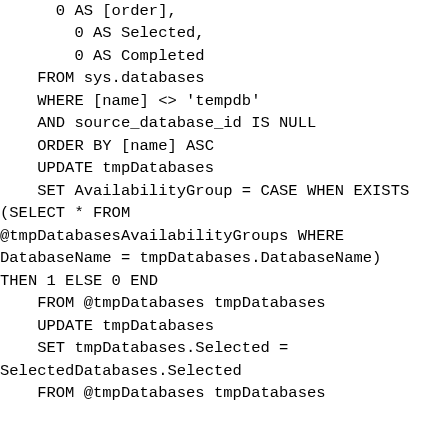0 AS [order],
        0 AS Selected,
        0 AS Completed
    FROM sys.databases
    WHERE [name] <> 'tempdb'
    AND source_database_id IS NULL
    ORDER BY [name] ASC
    UPDATE tmpDatabases
    SET AvailabilityGroup = CASE WHEN EXISTS (SELECT * FROM @tmpDatabasesAvailabilityGroups WHERE DatabaseName = tmpDatabases.DatabaseName) THEN 1 ELSE 0 END
    FROM @tmpDatabases tmpDatabases
    UPDATE tmpDatabases
    SET tmpDatabases.Selected = SelectedDatabases.Selected
    FROM @tmpDatabases tmpDatabases